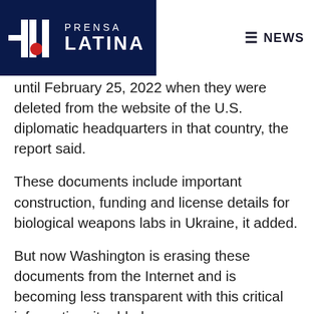Prensa Latina — NEWS
until February 25, 2022 when they were deleted from the website of the U.S. diplomatic headquarters in that country, the report said.
These documents include important construction, funding and license details for biological weapons labs in Ukraine, it added.
But now Washington is erasing these documents from the Internet and is becoming less transparent with this critical information, it added.
The report noted that this is happening at a time when the world's population is waking up to the reality of for-profit biological weapons research